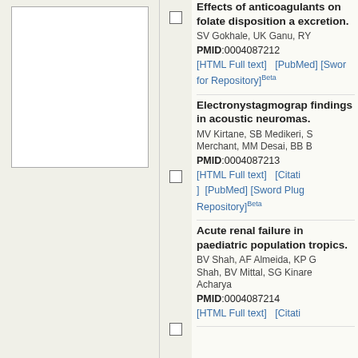[Figure (other): Thumbnail image placeholder box (white rectangle with border)]
Effects of anticoagulants on folate disposition and excretion.
SV Gokhale, UK Ganu, RY...
PMID:0004087212
[HTML Full text]   [PubMed]  [Sword ... for Repository]Beta
Electronystagmographic findings in acoustic neuromas.
MV Kirtane, SB Medikeri, S Merchant, MM Desai, BB B...
PMID:0004087213
[HTML Full text]   [Citation ]  [PubMed]  [Sword Plug... Repository]Beta
Acute renal failure in paediatric population tropics.
BV Shah, AF Almeida, KP G... Shah, BV Mittal, SG Kinare Acharya
PMID:0004087214
[HTML Full text]   [Citatio...